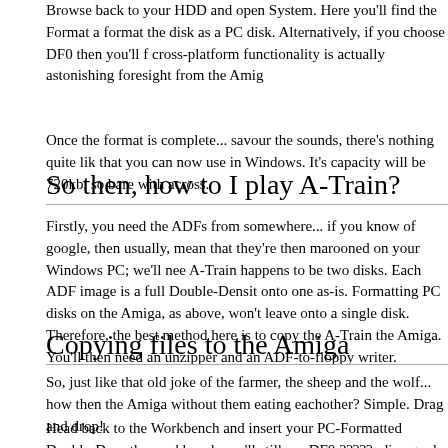Browse back to your HDD and open System. Here you'll find the Format a format the disk as a PC disk. Alternatively, if you choose DF0 then you'll f cross-platform functionality is actually astonishing foresight from the Amig
Once the format is complete... savour the sounds, there's nothing quite lik that you can now use in Windows. It's capacity will be 720kb, so bare with across.
So then, how to I play A-Train?
Firstly, you need the ADFs from somewhere... if you know of google, then usually, mean that they're then marooned on your Windows PC; we'll nee A-Train happens to be two disks. Each ADF image is a full Double-Densit onto one as-is. Formatting PC disks on the Amiga, as above, won't leave onto a single disk. Therefore, the best method here is to copy the A-Train the Amiga. You'll then need an unzipper and an ADF-to-floppy writer.
Copying files to the Amiga
So, just like that old joke of the farmer, the sheep and the wolf... how then the Amiga without them eating eachother? Simple. Drag and drop!
Head back to the Workbench and insert your PC-Formatted Double-Dens the workbench you'll still see DF0:?????; disregard this. You should now a and an 'EMPTY' title.. unless you named the floppy, somehow, when you
Open the floppy and view the contents... A-Train.zip should be there. Dra